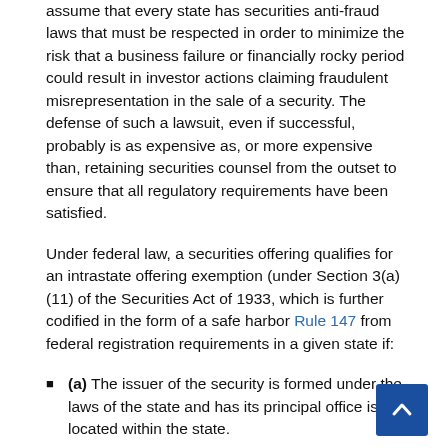assume that every state has securities anti-fraud laws that must be respected in order to minimize the risk that a business failure or financially rocky period could result in investor actions claiming fraudulent misrepresentation in the sale of a security. The defense of such a lawsuit, even if successful, probably is as expensive as, or more expensive than, retaining securities counsel from the outset to ensure that all regulatory requirements have been satisfied.
Under federal law, a securities offering qualifies for an intrastate offering exemption (under Section 3(a)(11) of the Securities Act of 1933, which is further codified in the form of a safe harbor Rule 147 from federal registration requirements in a given state if:
(a) The issuer of the security is formed under the laws of the state and has its principal office is located within the state.
(b) All offerees and purchasers of the securities are residents and domiciled in the state (which, for an entity, means it is formed under the laws of the state and its main